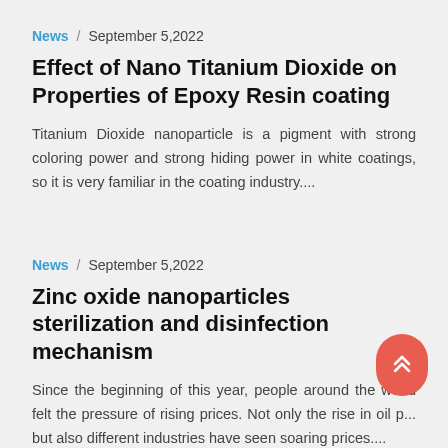News / September 5,2022
Effect of Nano Titanium Dioxide on Properties of Epoxy Resin coating
Titanium Dioxide nanoparticle is a pigment with strong coloring power and strong hiding power in white coatings, so it is very familiar in the coating industry....
News / September 5,2022
Zinc oxide nanoparticles sterilization and disinfection mechanism
Since the beginning of this year, people around the world felt the pressure of rising prices. Not only the rise in oil p... but also different industries have seen soaring prices....